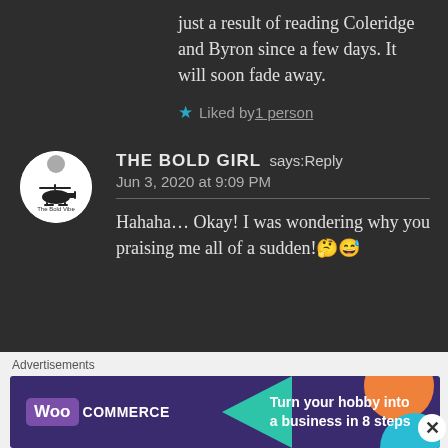just a result of reading Coleridge and Byron since a few days. It will soon fade away.
★ Liked by 1 person
[Figure (logo): Avatar logo for The Bold Vibe blog, circular white badge with helicopter icon and text 'The Bold Vibe']
THE BOLD GIRL says: Reply
Jun 3, 2020 at 9:09 PM

Hahaha… Okay! I was wondering why you praising me all of a sudden!🤔😅